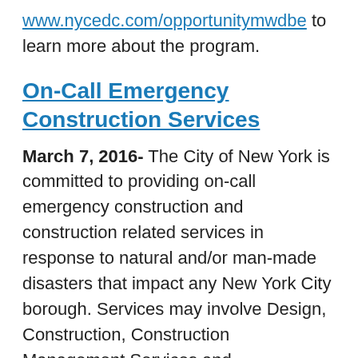www.nycedc.com/opportunitymwdbe to learn more about the program.
On-Call Emergency Construction Services
March 7, 2016- The City of New York is committed to providing on-call emergency construction and construction related services in response to natural and/or man-made disasters that impact any New York City borough. Services may involve Design, Construction, Construction Management Services and Procurement of Goods. To achieve this goal, the City of New York is seeking to establish a registry of on-call emergency contracts that will be required to expeditiously respond to any City or State declared